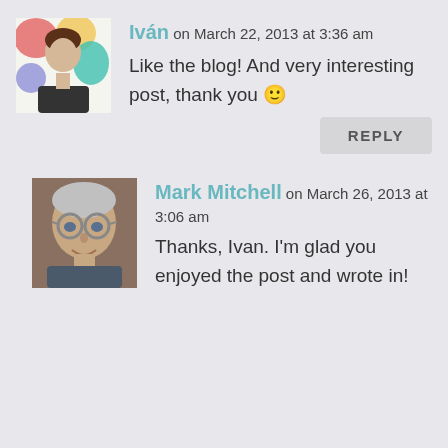Iván on March 22, 2013 at 3:36 am
Like the blog! And very interesting post, thank you 🙂
REPLY
Mark Mitchell on March 26, 2013 at 3:06 am
Thanks, Ivan. I'm glad you enjoyed the post and wrote in!